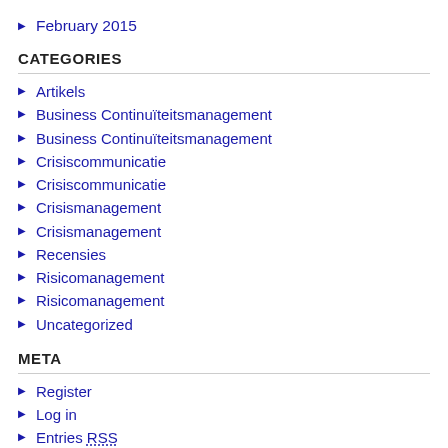February 2015
CATEGORIES
Artikels
Business Continuïteitsmanagement
Business Continuïteitsmanagement
Crisiscommunicatie
Crisiscommunicatie
Crisismanagement
Crisismanagement
Recensies
Risicomanagement
Risicomanagement
Uncategorized
META
Register
Log in
Entries RSS
Comments RSS